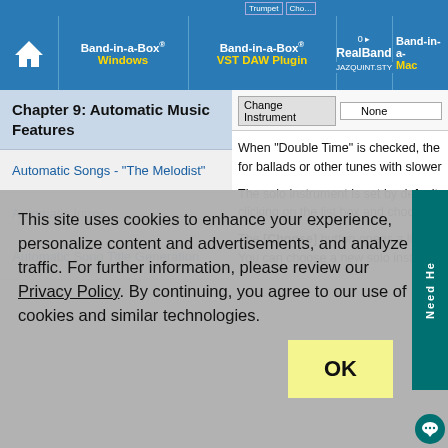Band-in-a-Box® Windows | Band-in-a-Box® VST DAW Plugin | RealBand | Band-in-a- Mac
Chapter 9: Automatic Music Features
Automatic Songs - "The Melodist"
Automatic Intros.
Automatic Song Title Generation
[Figure (screenshot): Change Instrument dropdown showing None selected]
When "Double Time" is checked, the for ballads or other tunes with slower
The solo instrument is set by default clicking on the list box and choosing
The [Choose] button opens a list of You can choose a new solo instrume
This site uses cookies to enhance your experience, personalize content and advertisements, and analyze traffic. For further information, please review our Privacy Policy. By continuing, you agree to our use of cookies and similar technologies.